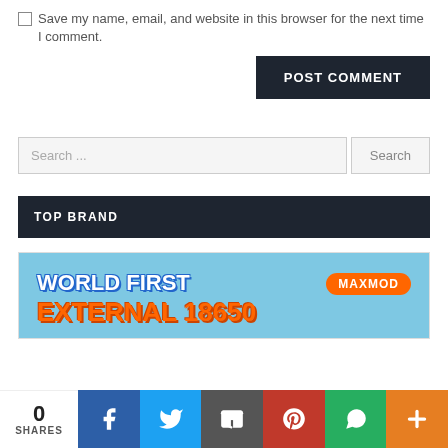Save my name, email, and website in this browser for the next time I comment.
POST COMMENT
Search ...
TOP BRAND
[Figure (illustration): Advertisement banner for MAXMOD WORLD FIRST EXTERNAL 18650 product on light blue background]
0 SHARES